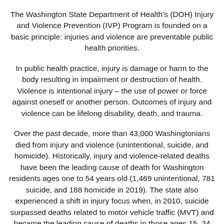The Washington State Department of Health's (DOH) Injury and Violence Prevention (IVP) Program is founded on a basic principle: injuries and violence are preventable public health priorities.
In public health practice, injury is damage or harm to the body resulting in impairment or destruction of health. Violence is intentional injury – the use of power or force against oneself or another person. Outcomes of injury and violence can be lifelong disability, death, and trauma.
Over the past decade, more than 43,000 Washingtonians died from injury and violence (unintentional, suicide, and homicide). Historically, injury and violence-related deaths have been the leading cause of death for Washington residents ages one to 54 years old (1,469 unintentional, 781 suicide, and 188 homicide in 2019). The state also experienced a shift in injury focus when, in 2010, suicide surpassed deaths related to motor vehicle traffic (MVT) and became the leading cause of deaths in those ages 15–24 years old. IVP uses data to identify prevention priorities and develop interventions based on best practices.
You may find detailed information about evidence-based